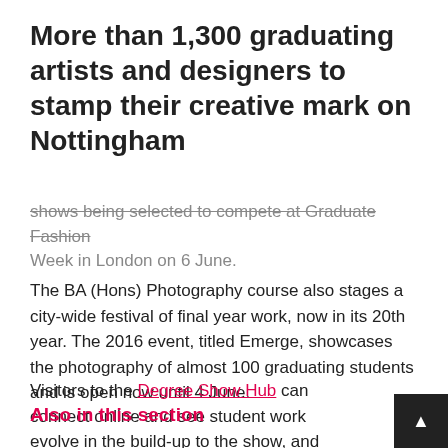More than 1,300 graduating artists and designers to stamp their creative mark on Nottingham
shows being selected to compete at Graduate Fashion Week in London on 6 June.
The BA (Hons) Photography course also stages a city-wide festival of final year work, now in its 20th year. The 2016 event, titled Emerge, showcases the photography of almost 100 graduating students and is open now until 4 June.
Visitors to the Degree Show Hub can connect online and see student work evolve in the build-up to the show, and this year the social media campaign takes a step forward as students, collaborative partners
Also in this section